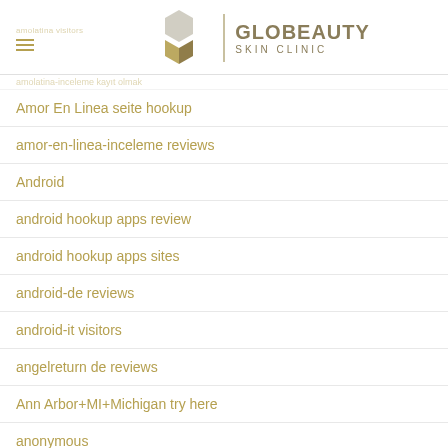GLOBEAUTY SKIN CLINIC
amolatina-inceleme kayıt olmak
Amor En Linea seite hookup
amor-en-linea-inceleme reviews
Android
android hookup apps review
android hookup apps sites
android-de reviews
android-it visitors
angelreturn de reviews
Ann Arbor+MI+Michigan try here
anonymous